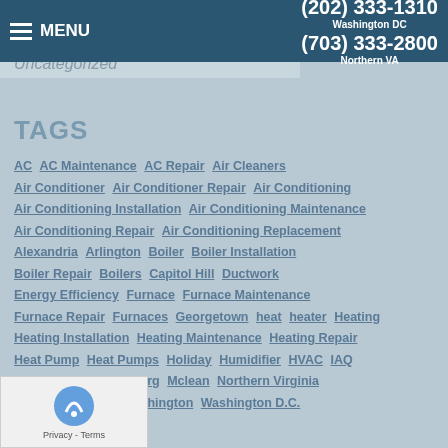MENU | (202) 333-1310 Washington DC | (703) 333-2800 Northern VA
Uncategorized
TAGS
AC
AC Maintenance
AC Repair
Air Cleaners
Air Conditioner
Air Conditioner Repair
Air Conditioning
Air Conditioning Installation
Air Conditioning Maintenance
Air Conditioning Repair
Air Conditioning Replacement
Alexandria
Arlington
Boiler
Boiler Installation
Boiler Repair
Boilers
Capitol Hill
Ductwork
Energy Efficiency
Furnace
Furnace Maintenance
Furnace Repair
Furnaces
Georgetown
heat
heater
Heating
Heating Installation
Heating Maintenance
Heating Repair
Heat Pump
Heat Pumps
Holiday
Humidifier
HVAC
IAQ
Indoor Air Quality
Leesburg
Mclean
Northern Virginia
Germicidal Lights
Washington
Washington D.C.
Washington DC